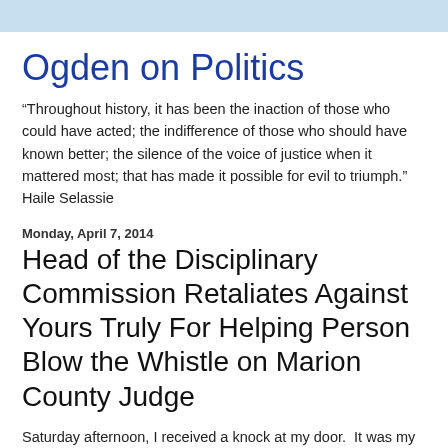Ogden on Politics
“Throughout history, it has been the inaction of those who could have acted; the indifference of those who should have known better; the silence of the voice of justice when it mattered most; that has made it possible for evil to triumph.” Haile Selassie
Monday, April 7, 2014
Head of the Disciplinary Commission Retaliates Against Yours Truly For Helping Person Blow the Whistle on Marion County Judge
Saturday afternoon, I received a knock at my door.  It was my postal carrier.  He come bearing a new grievance filed against me by Executive Secretary Michael Witte of the Indiana Supreme Court Disciplinary Commission.  I wasn’t